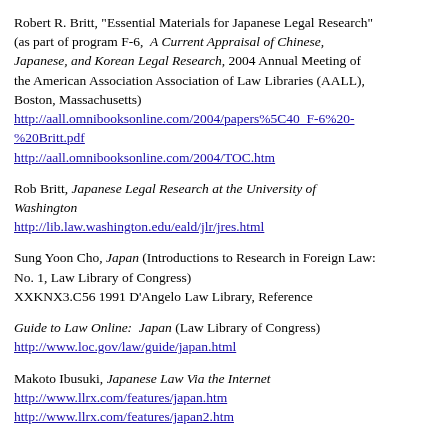Robert R. Britt, "Essential Materials for Japanese Legal Research" (as part of program F-6, A Current Appraisal of Chinese, Japanese, and Korean Legal Research, 2004 Annual Meeting of the American Association Association of Law Libraries (AALL), Boston, Massachusetts)
http://aall.omnibooksonline.com/2004/papers%5C40_F-6%20-%20Britt.pdf
http://aall.omnibooksonline.com/2004/TOC.htm
Rob Britt, Japanese Legal Research at the University of Washington
http://lib.law.washington.edu/eald/jlr/jres.html
Sung Yoon Cho, Japan (Introductions to Research in Foreign Law: No. 1, Law Library of Congress)
XXKNX3.C56 1991 D'Angelo Law Library, Reference
Guide to Law Online: Japan (Law Library of Congress)
http://www.loc.gov/law/guide/japan.html
Makoto Ibusuki, Japanese Law Via the Internet
http://www.llrx.com/features/japan.htm
http://www.llrx.com/features/japan2.htm